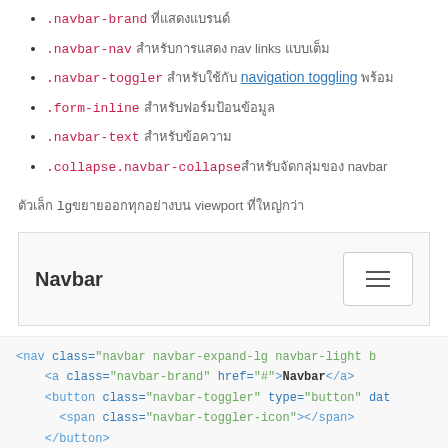.navbar-brand ที่แสดงแบรนด์
.navbar-nav สำหรับการแสดง nav links แบบเต็ม
.navbar-toggler สำหรับใช้กับ navigation toggling พร้อม
.form-inline สำหรับฟอร์มป้อนข้อมูล
.navbar-text สำหรับข้อความ
.collapse.navbar-collapseสำหรับจัดกลุ่มของ navbar
ตัวเล็ก lg ขยายออกทุกอย่างบน viewport ที่ใหญ่กว่า
[Figure (screenshot): Bootstrap Navbar demo component showing brand text 'Navbar' and a toggler button with hamburger icon]
<nav class="navbar navbar-expand-lg navbar-light b
    <a class="navbar-brand" href="#">Navbar</a>
    <button class="navbar-toggler" type="button" dat
      <span class="navbar-toggler-icon"></span>
    </button>